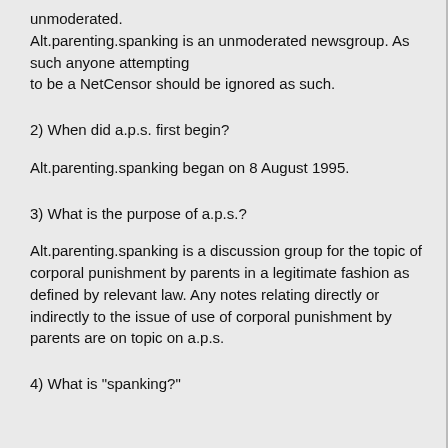unmoderated.
Alt.parenting.spanking is an unmoderated newsgroup. As such anyone attempting
to be a NetCensor should be ignored as such.
2) When did a.p.s. first begin?
Alt.parenting.spanking began on 8 August 1995.
3) What is the purpose of a.p.s.?
Alt.parenting.spanking is a discussion group for the topic of corporal punishment by parents in a legitimate fashion as defined by relevant law. Any notes relating directly or indirectly to the issue of use of corporal punishment by parents are on topic on a.p.s.
4) What is "spanking?"